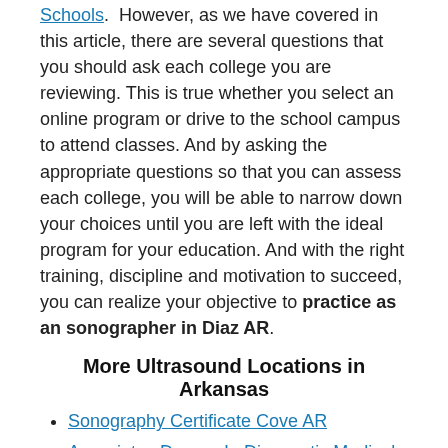Schools.  However, as we have covered in this article, there are several questions that you should ask each college you are reviewing. This is true whether you select an online program or drive to the school campus to attend classes. And by asking the appropriate questions so that you can assess each college, you will be able to narrow down your choices until you are left with the ideal program for your education. And with the right training, discipline and motivation to succeed, you can realize your objective to practice as an sonographer in Diaz AR.
More Ultrasound Locations in Arkansas
Sonography Certificate Cove AR
Associates Degree In Diagnostic Medical Sonography Schools Beedeville AR
Ultrasound Technician Course Online Hardy AR
Accelerated Sonography Programs Vandervoort AR
How To Become A Diagnostic Medical Sonographer